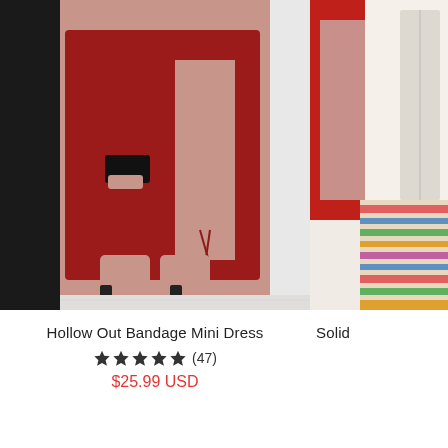[Figure (photo): Red hollow out bandage mini dress worn by model, showing lace-up cutout detail on the side, paired with black lace-up heeled sandals and a black clutch. White marble floor background.]
Hollow Out Bandage Mini Dress
★★★★★ (47)
$25.99 USD
[Figure (photo): Partial view of a red dress product on a model, with a colorful rug visible in the background. Image is cropped on the right side.]
Solid